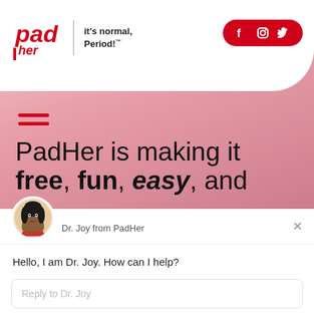[Figure (screenshot): PadHer website screenshot showing logo with tagline 'it's normal, Period!™', social media icons (Facebook, Instagram, Twitter) in a red rounded button, pink hero background, hamburger menu icon, headline text 'PadHer is making it free, fun, easy, and', red horizontal stripe, and a chat widget overlay from Dr. Joy from PadHer with message 'Hello, I am Dr. Joy. How can I help?', reply input field placeholder 'Reply to Dr. Joy', and footer 'Chat ⚡ by Drift']